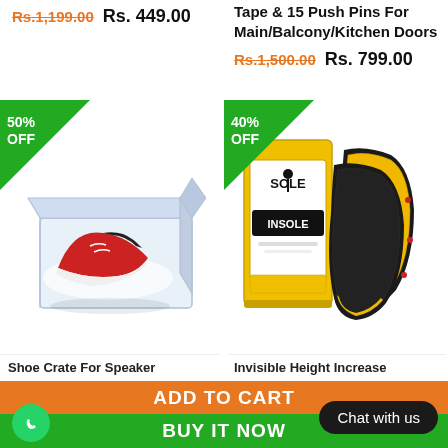Rs.1,199.00 Rs. 449.00
Tape & 15 Push Pins For Main/Balcony/Kitchen Doors
Rs.1,500.00 Rs. 799.00
[Figure (photo): Clear plastic shoe display box containing red and white Nike sneakers, with 50% OFF green triangle badge]
[Figure (photo): SOLE INSOLE product package showing yellow and black insoles with 40% OFF green triangle badge]
Shoe Crate For Speaker
Invisible Height Increase
ADD TO CART
BUY IT NOW
Chat with us